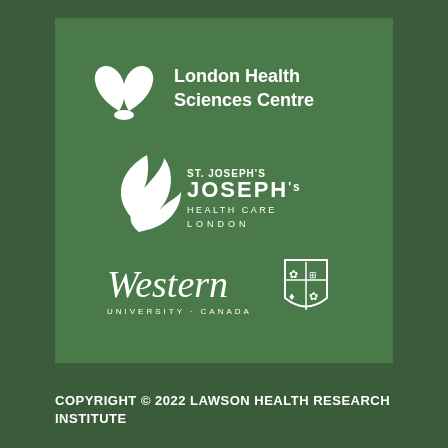[Figure (logo): London Health Sciences Centre logo — white leaf/medical icon with text 'London Health Sciences Centre' on green background]
[Figure (logo): St. Joseph's Health Care London logo — white stylized plant/flame icon with text 'ST. JOSEPH's HEALTH CARE LONDON' on green background]
[Figure (logo): Western University Canada logo — white serif 'Western' wordmark with shield crest and 'UNIVERSITY · CANADA' text on green background]
COPYRIGHT © 2022 LAWSON HEALTH RESEARCH INSTITUTE